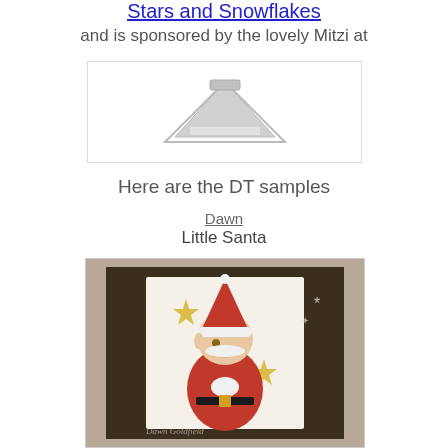Stars and Snowflakes
and is sponsored by the lovely Mitzi at
[Figure (logo): Sponsor logo placeholder image showing a triangle/mountain shape icon in grey on white background]
Here are the DT samples
Dawn
Little Santa
[Figure (photo): A handmade greeting card featuring a cute cartoon elf/child dressed in a red Santa suit and hat, sitting on a dark floral patterned background with snowflake embellishments. The card has a white deckle-edged inner panel with gold star accents. Watermark reads 'Dawn Goldfield' with a blog URL.]